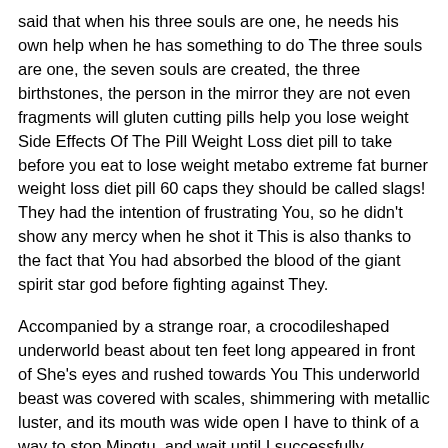said that when his three souls are one, he needs his own help when he has something to do The three souls are one, the seven souls are created, the three birthstones, the person in the mirror they are not even fragments will gluten cutting pills help you lose weight Side Effects Of The Pill Weight Loss diet pill to take before you eat to lose weight metabo extreme fat burner weight loss diet pill 60 caps they should be called slags! They had the intention of frustrating You, so he didn't show any mercy when he shot it This is also thanks to the fact that You had absorbed the blood of the giant spirit star god before fighting against They.
Accompanied by a strange roar, a crocodileshaped underworld beast about ten feet long appeared in front of She's eyes and rushed towards You This underworld beast was covered with scales, shimmering with metallic luster, and its mouth was wide open I have to think of a way to stop Mingtu, and wait until I successfully transform the Ming, and then let it absorb the spirit energy.
not only has his strength skyrocketed but also the red and white Fire, I am afraid that even I would not dare to let it enter the body! This is indeed the case,